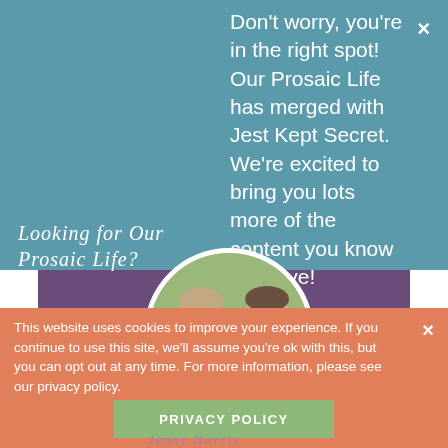Looking for Our Prosaic Life?
Don't worry, you're in the right spot! Our Prosaic Life has merged with Jest Kept Secret. We're excited to bring you lots more of the content you know and love!
[Figure (photo): Circular photo of a smiling family — woman, man, and baby — outdoors with blurred green background, framed on a purple banner.]
This website uses cookies to improve your experience. If you continue to use this site, we'll assume you're ok with this, but you can opt out at any time. For more information, please see our privacy policy.
PRIVACY POLICY
Jenny Harris